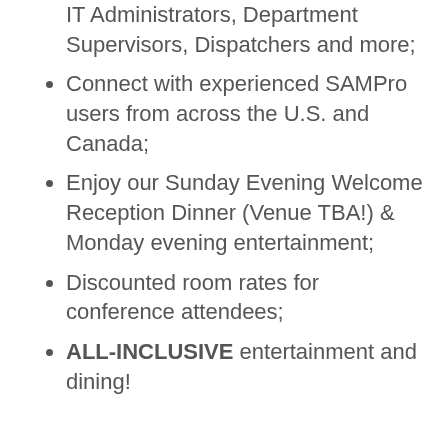Executives, Service & Project Managers, IT Administrators, Department Supervisors, Dispatchers and more;
Connect with experienced SAMPro users from across the U.S. and Canada;
Enjoy our Sunday Evening Welcome Reception Dinner (Venue TBA!) & Monday evening entertainment;
Discounted room rates for conference attendees;
ALL-INCLUSIVE entertainment and dining!